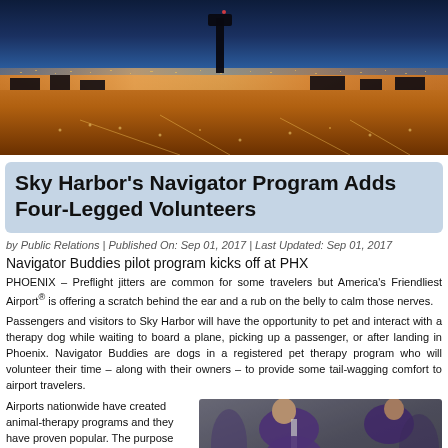[Figure (photo): Aerial night photograph of Phoenix Sky Harbor Airport showing the control tower silhouette against a twilight sky with city lights and illuminated tarmac below]
Sky Harbor's Navigator Program Adds Four-Legged Volunteers
by Public Relations | Published On: Sep 01, 2017 | Last Updated: Sep 01, 2017
Navigator Buddies pilot program kicks off at PHX
PHOENIX – Preflight jitters are common for some travelers but America's Friendliest Airport® is offering a scratch behind the ear and a rub on the belly to calm those nerves.
Passengers and visitors to Sky Harbor will have the opportunity to pet and interact with a therapy dog while waiting to board a plane, picking up a passenger, or after landing in Phoenix. Navigator Buddies are dogs in a registered pet therapy program who will volunteer their time – along with their owners – to provide some tail-wagging comfort to airport travelers.
Airports nationwide have created animal-therapy programs and they have proven popular. The purpose
[Figure (photo): Photo of a person in purple jacket bending down to interact with a therapy dog at the airport]